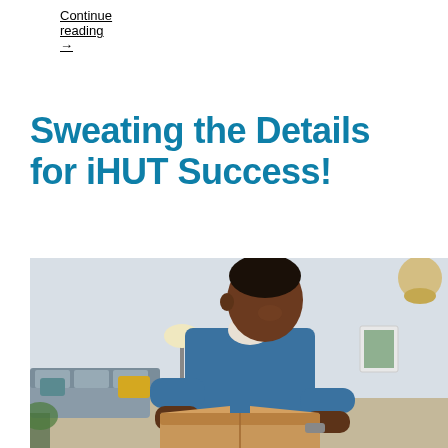Continue reading →
Sweating the Details for iHUT Success!
[Figure (photo): A man in a blue denim shirt smiling as he opens or unpacks a cardboard box in a modern living room setting with a couch, lamp, and wall art in the background.]